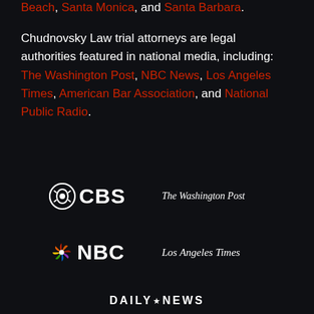Beach, Santa Monica, and Santa Barbara.
Chudnovsky Law trial attorneys are legal authorities featured in national media, including: The Washington Post, NBC News, Los Angeles Times, American Bar Association, and National Public Radio.
[Figure (logo): CBS logo with eye icon and bold CBS text in white]
[Figure (logo): The Washington Post logo in white serif italic text]
[Figure (logo): NBC logo with peacock feather icon and bold NBC text in white]
[Figure (logo): Los Angeles Times logo in white serif italic text]
[Figure (logo): Daily News logo in white bold uppercase text with star dot]